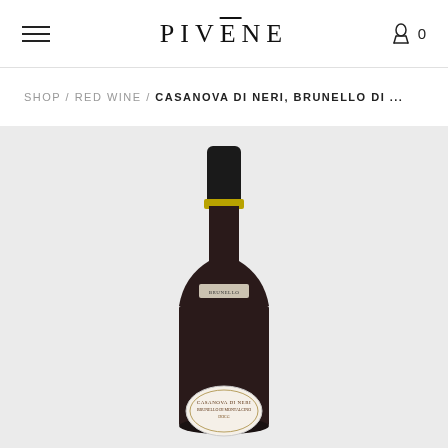PIVĒNE
SHOP / RED WINE / CASANOVA DI NERI, BRUNELLO DI ...
[Figure (photo): A red wine bottle (Casanova di Neri, Brunello di Montalcino) with a dark body, black capsule, and a white label with ornate design at the bottom, photographed against a light gray background.]